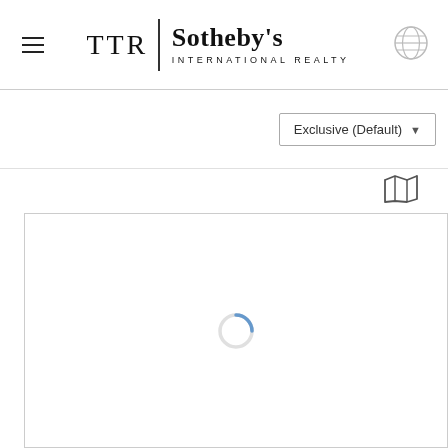[Figure (logo): TTR Sotheby's International Realty logo with hamburger menu icon and globe icon]
Exclusive (Default)
[Figure (other): Map view icon (folded map outline)]
[Figure (other): Loading spinner circle indicator inside a white bordered content panel]